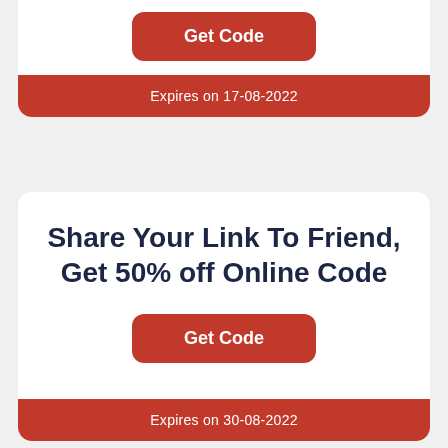Get Code
Expires on 17-08-2022
Share Your Link To Friend, Get 50% off Online Code
Get Code
Expires on 30-08-2022